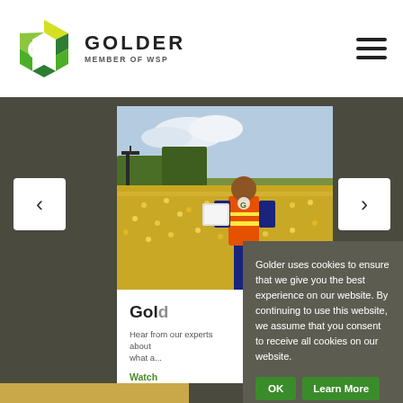[Figure (logo): Golder Associates logo - hexagonal G shape in green/yellow/lime with text GOLDER MEMBER OF WSP]
[Figure (photo): Field worker in orange high-visibility vest holding a tablet/clipboard in a yellow flower field with oil pump jack in background]
Golder
Hear from our experts about what a...
Watch
Golder uses cookies to ensure that we give you the best experience on our website. By continuing to use this website, we assume that you consent to receive all cookies on our website.
OK
Learn More